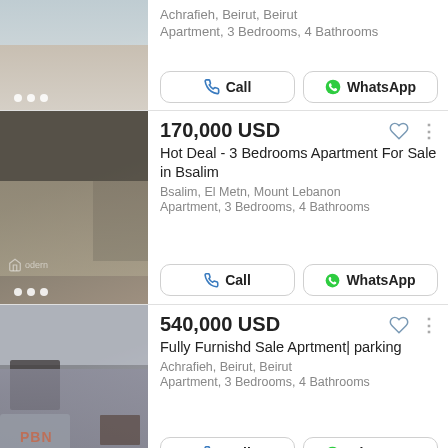[Figure (photo): Interior photo of an empty apartment with shiny floor, partial view - Achrafieh listing]
Achrafieh, Beirut, Beirut
Apartment, 3 Bedrooms, 4 Bathrooms
Call
WhatsApp
[Figure (photo): Interior photo of an empty apartment - Bsalim listing, Modern realty watermark]
170,000 USD
Hot Deal - 3 Bedrooms Apartment For Sale in Bsalim
Bsalim, El Metn, Mount Lebanon
Apartment, 3 Bedrooms, 4 Bathrooms
Call
WhatsApp
[Figure (photo): Interior photo of a furnished apartment living/dining area - Achrafieh listing, PBN watermark]
540,000 USD
Fully Furnishd Sale Aprtment| parking
Achrafieh, Beirut, Beirut
Apartment, 3 Bedrooms, 4 Bathrooms
Call
WhatsApp